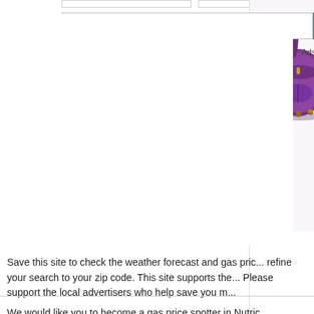[Figure (screenshot): Amazon search bar with 'Search Amazon' placeholder text and a gray 'Go' button]
Ads by Amazon ▷
[Figure (photo): Purple handbag/purse partially visible on the right side of the page]
Save this site to check the weather forecast and gas pric... refine your search to your zip code. This site supports the... Please support the local advertisers who help save you m...
We would like you to become a gas price spotter in Nutric...